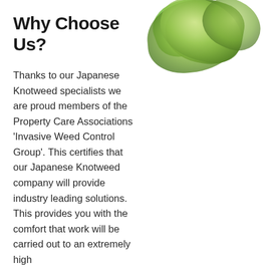Why Choose Us?
Thanks to our Japanese Knotweed specialists we are proud members of the Property Care Associations 'Invasive Weed Control Group'. This certifies that our Japanese Knotweed company will provide industry leading solutions. This provides you with the comfort that work will be carried out to an extremely high
[Figure (photo): Close-up blurred photograph of green Japanese Knotweed leaves with light and dark green tones.]